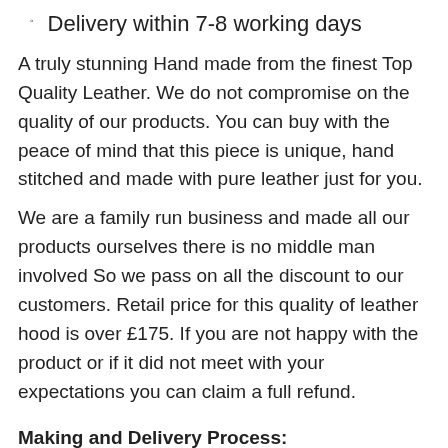Delivery within 7-8 working days
A truly stunning Hand made from the finest Top Quality Leather. We do not compromise on the quality of our products. You can buy with the peace of mind that this piece is unique, hand stitched and made with pure leather just for you.
We are a family run business and made all our products ourselves there is no middle man involved So we pass on all the discount to our customers. Retail price for this quality of leather hood is over £175. If you are not happy with the product or if it did not meet with your expectations you can claim a full refund.
Making and Delivery Process:
1) You have placed the order Choosing your size, colour and any other specifics.